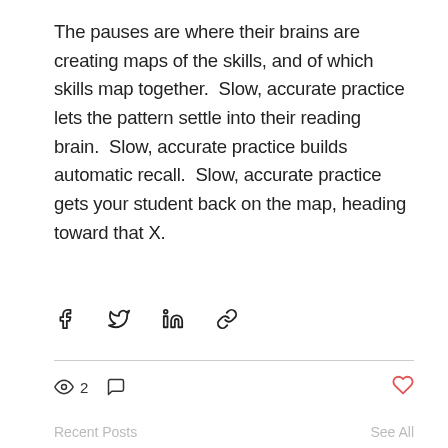The pauses are where their brains are creating maps of the skills, and of which skills map together.  Slow, accurate practice lets the pattern settle into their reading brain.  Slow, accurate practice builds automatic recall.  Slow, accurate practice gets your student back on the map, heading toward that X.
[Figure (other): Social sharing icons: Facebook, Twitter, LinkedIn, link/chain]
2
Recent Posts   See All